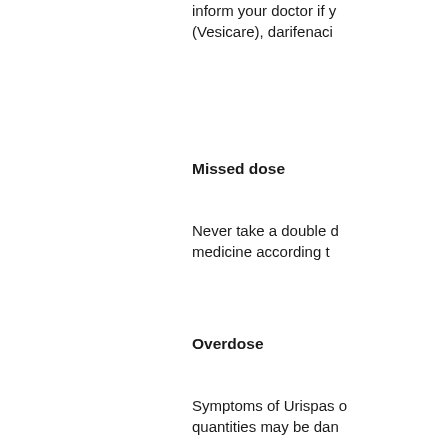inform your doctor if you are taking solifenacin (Vesicare), darifenaci…
Missed dose
Never take a double dose to make up for a missed dose. Take your medicine according to…
Overdose
Symptoms of Urispas overdose include… quantities may be dan…
Storage
Store tablets at room t…